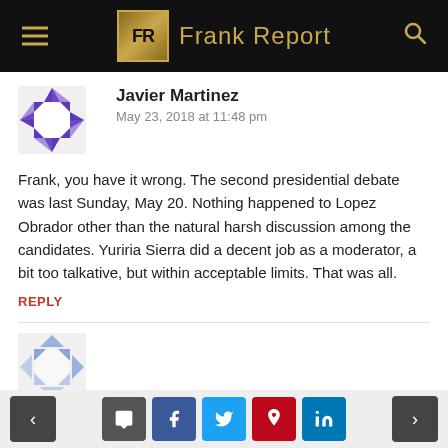FR Frank Report
Javier Martinez
May 23, 2018 at 11:48 pm
Frank, you have it wrong. The second presidential debate was last Sunday, May 20. Nothing happened to Lopez Obrador other than the natural harsh discussion among the candidates. Yuriria Sierra did a decent job as a moderator, a bit too talkative, but within acceptable limits. That was all.
REPLY
Navigation and social sharing buttons